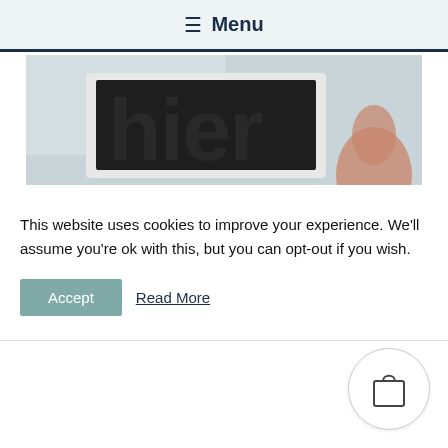☰ Menu
[Figure (photo): Close-up photo of a document or sign with large letters visible (appears to show 'hier'), with a hand partially visible at the right edge.]
This website uses cookies to improve your experience. We'll assume you're ok with this, but you can opt-out if you wish.
Accept  Read More
[Figure (illustration): Shopping bag icon inside a circular button, bottom-right corner.]